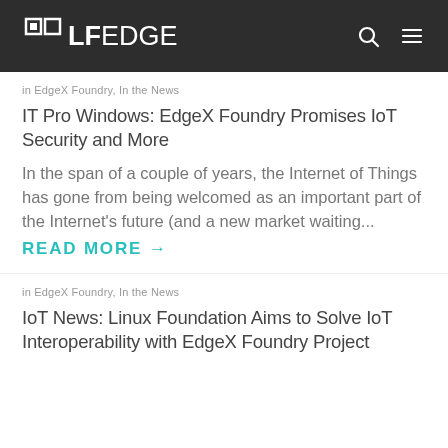LF EDGE
in EdgeX Foundry, In the News
IT Pro Windows: EdgeX Foundry Promises IoT Security and More
In the span of a couple of years, the Internet of Things has gone from being welcomed as an important part of the Internet's future (and a new market waiting...
READ MORE →
in EdgeX Foundry, In the News
IoT News: Linux Foundation Aims to Solve IoT Interoperability with EdgeX Foundry Project